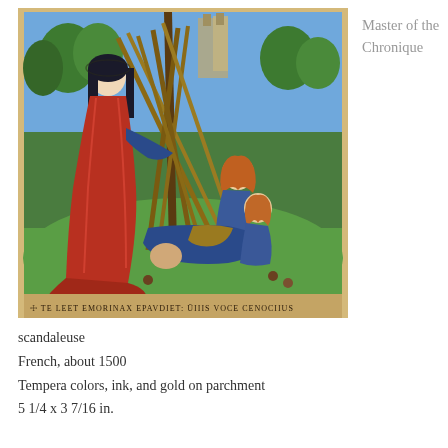[Figure (illustration): Medieval illuminated manuscript painting showing a standing woman in red dress with long black hair, and two other figures in distress near a pile of crossed staves or spears on a green ground, with castle and trees in background. Latin text inscription at the bottom border of the painting.]
Master of the Chronique
scandaleuse
French, about 1500
Tempera colors, ink, and gold on parchment
5 1/4 x 3 7/16 in.